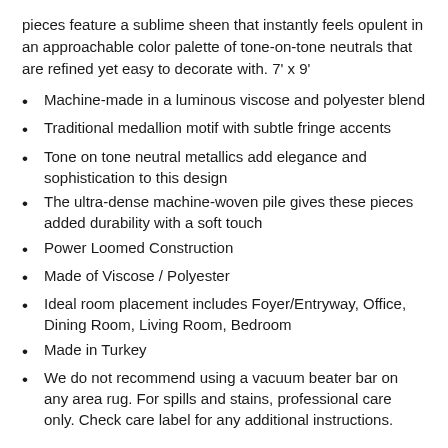pieces feature a sublime sheen that instantly feels opulent in an approachable color palette of tone-on-tone neutrals that are refined yet easy to decorate with. 7' x 9'
Machine-made in a luminous viscose and polyester blend
Traditional medallion motif with subtle fringe accents
Tone on tone neutral metallics add elegance and sophistication to this design
The ultra-dense machine-woven pile gives these pieces added durability with a soft touch
Power Loomed Construction
Made of Viscose / Polyester
Ideal room placement includes Foyer/Entryway, Office, Dining Room, Living Room, Bedroom
Made in Turkey
We do not recommend using a vacuum beater bar on any area rug. For spills and stains, professional care only. Check care label for any additional instructions.